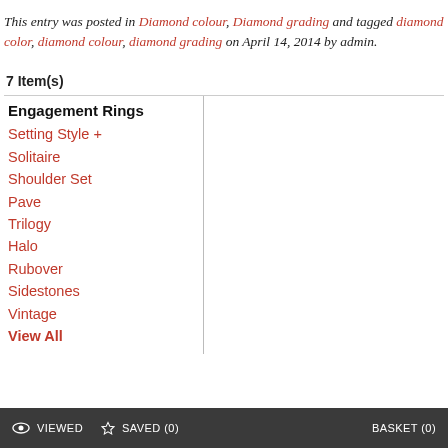This entry was posted in Diamond colour, Diamond grading and tagged diamond color, diamond colour, diamond grading on April 14, 2014 by admin.
7 Item(s)
Engagement Rings
Setting Style +
Solitaire
Shoulder Set
Pave
Trilogy
Halo
Rubover
Sidestones
Vintage
View All
VIEWED   SAVED (0)   BASKET (0)